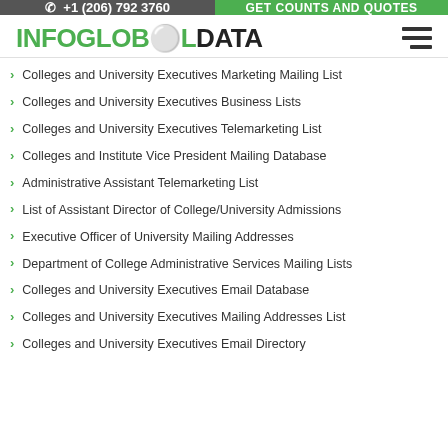+1 (206) 792 3760 | GET COUNTS AND QUOTES
INFOGLOBALDATA
Colleges and University Executives Marketing Mailing List
Colleges and University Executives Business Lists
Colleges and University Executives Telemarketing List
Colleges and Institute Vice President Mailing Database
Administrative Assistant Telemarketing List
List of Assistant Director of College/University Admissions
Executive Officer of University Mailing Addresses
Department of College Administrative Services Mailing Lists
Colleges and University Executives Email Database
Colleges and University Executives Mailing Addresses List
Colleges and University Executives Email Directory